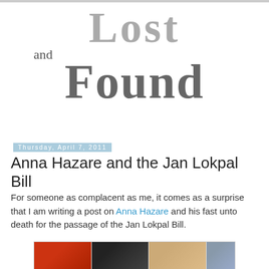Lost and Found
Thursday, April 7, 2011
Anna Hazare and the Jan Lokpal Bill
For someone as complacent as me, it comes as a surprise that I am writing a post on Anna Hazare and his fast unto death for the passage of the Jan Lokpal Bill.
[Figure (photo): Photo strip showing people at what appears to be a rally or gathering, with red, dark, and tan colored segments]